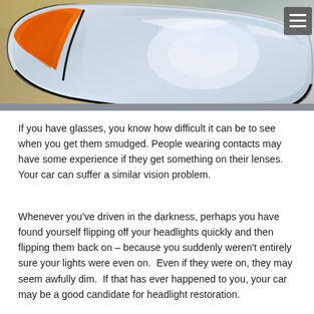[Figure (photo): Close-up photo of a car headlight assembly showing a clear/chrome lens housing with an orange turn signal reflector on the left side. A hamburger menu icon (three horizontal white lines on a grey square) is visible in the top-right corner of the image.]
If you have glasses, you know how difficult it can be to see when you get them smudged. People wearing contacts may have some experience if they get something on their lenses. Your car can suffer a similar vision problem.
Whenever you've driven in the darkness, perhaps you have found yourself flipping off your headlights quickly and then flipping them back on – because you suddenly weren't entirely sure your lights were even on.  Even if they were on, they may seem awfully dim.  If that has ever happened to you, your car may be a good candidate for headlight restoration.